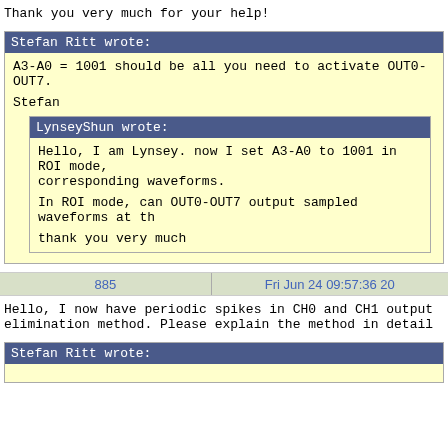Thank you very much for your help!
Stefan Ritt wrote:
A3-A0 = 1001 should be all you need to activate OUT0-OUT7.
Stefan
LynseyShun wrote:
Hello, I am Lynsey. now I set A3-A0 to 1001 in ROI mode, corresponding waveforms.
In ROI mode, can OUT0-OUT7 output sampled waveforms at th
thank you very much
885
Fri Jun 24 09:57:36 20
Hello, I now have periodic spikes in CH0 and CH1 output elimination method. Please explain the method in detail
Stefan Ritt wrote: